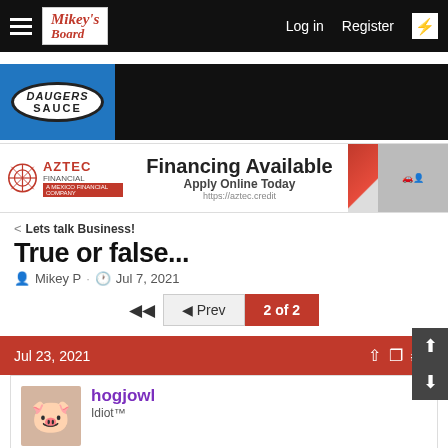Mikey's Board — Log in  Register
[Figure (illustration): Dauger's Sauce advertisement banner — blue and black background with oval logo]
[Figure (illustration): Aztec Financial advertisement — Financing Available, Apply Online Today, https://aztec.credit]
< Lets talk Business!
True or false...
Mikey P · Jul 7, 2021
◄◄  ◄ Prev  2 of 2
Jul 23, 2021  #31
hogjowl
Idiot™